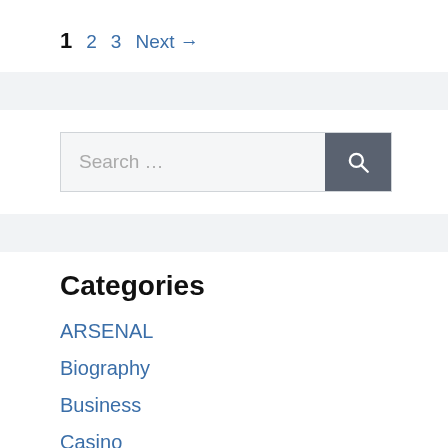1  2  3  Next →
[Figure (other): Light gray horizontal separator bar]
[Figure (other): Search box with text 'Search …' and a dark gray search button with magnifying glass icon]
[Figure (other): Light gray horizontal separator bar]
Categories
ARSENAL
Biography
Business
Casino